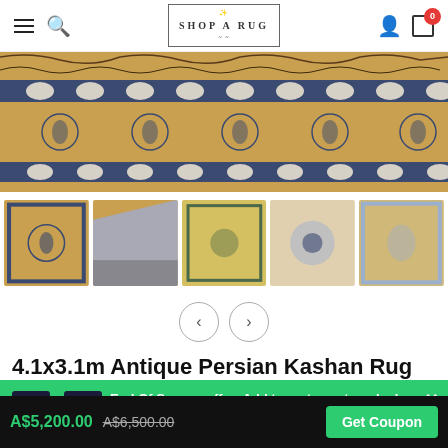Shop A Rug — Navigation header with hamburger, search, logo, user, cart (0)
[Figure (photo): Close-up photo of an antique Persian Kashan rug with gold/beige background and blue floral/arabesque border patterns]
[Figure (photo): Thumbnail 1: Top-down view of Persian Kashan rug with gold background and blue border]
[Figure (photo): Thumbnail 2: Corner/edge view of Persian Kashan rug showing blue/grey border]
[Figure (photo): Thumbnail 3: Full view of Persian Kashan rug with olive/yellow tones]
[Figure (photo): Thumbnail 4: Close-up detail of Persian Kashan rug medallion pattern]
[Figure (photo): Thumbnail 5: Another view of Persian Kashan rug with gold background]
4.1x3.1m Antique Persian Kashan Rug
End Of Season offer: Add to cart now to unlock Wintersale 20% Off!
A$5,200.00  A$6,500.00  Get Coupon